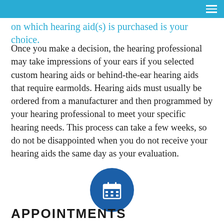on which hearing aid(s) is purchased is your choice.
Once you make a decision, the hearing professional may take impressions of your ears if you selected custom hearing aids or behind-the-ear hearing aids that require earmolds. Hearing aids must usually be ordered from a manufacturer and then programmed by your hearing professional to meet your specific hearing needs. This process can take a few weeks, so do not be disappointed when you do not receive your hearing aids the same day as your evaluation.
[Figure (illustration): Blue circle icon with a white calendar/grid symbol inside]
APPOINTMENTS